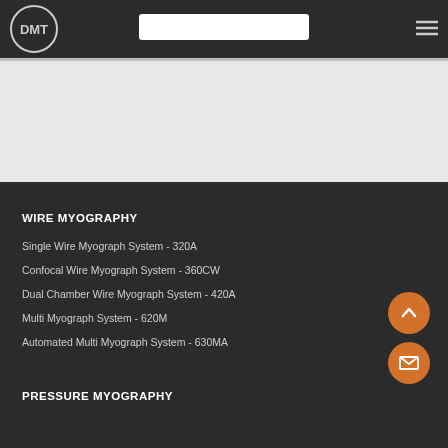DMT
WIRE MYOGRAPHY
Single Wire Myograph System - 320A
Confocal Wire Myograph System - 360CW
Dual Chamber Wire Myograph System - 420A
Multi Myograph System - 620M
Automated Multi Myograph System - 630MA
PRESSURE MYOGRAPHY